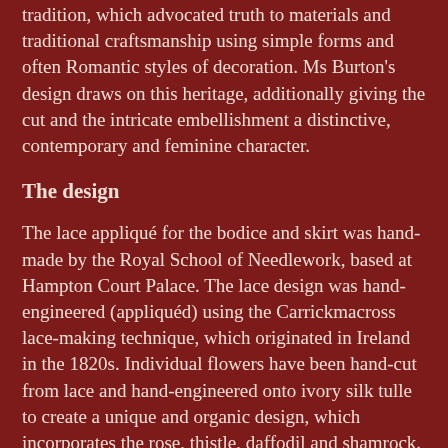tradition, which advocated truth to materials and traditional craftsmanship using simple forms and often Romantic styles of decoration. Ms Burton's design draws on this heritage, additionally giving the cut and the intricate embellishment a distinctive, contemporary and feminine character.
The design
The lace appliqué for the bodice and skirt was hand-made by the Royal School of Needlework, based at Hampton Court Palace. The lace design was hand-engineered (appliquéd) using the Carrickmacross lace-making technique, which originated in Ireland in the 1820s. Individual flowers have been hand-cut from lace and hand-engineered onto ivory silk tulle to create a unique and organic design, which incorporates the rose, thistle, daffodil and shamrock.
Hand-cut English lace and French Chantilly lace has been used throughout the bodice and skirt, and has been used for the underskirt trim. With laces coming from different sources, much care was taken to ensure that each flower was the same color. The whole process was overseen and put together by hand by Ms